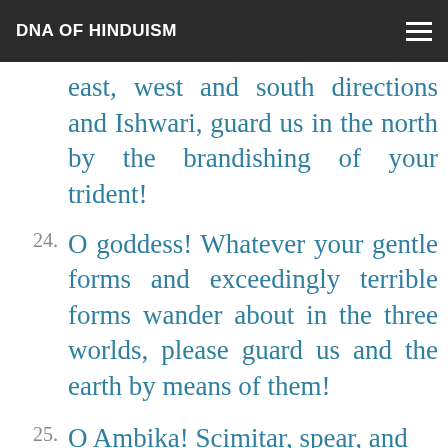DNA OF HINDUISM
O Ambika! Guard us in the east, west and south directions and Ishwari, guard us in the north by the brandishing of your trident!
24. O goddess! Whatever your gentle forms and exceedingly terrible forms wander about in the three worlds, please guard us and the earth by means of them!
25. O Ambika! Scimitar, spear, and